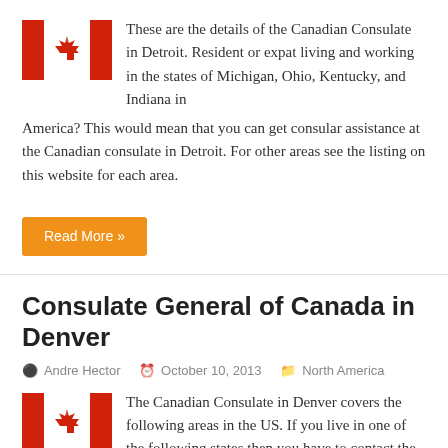[Figure (illustration): Canadian flag icon (red and white with maple leaf)]
These are the details of the Canadian Consulate in Detroit. Resident or expat living and working in the states of Michigan, Ohio, Kentucky, and Indiana in America? This would mean that you can get consular assistance at the Canadian consulate in Detroit. For other areas see the listing on this website for each area.
Read More »
Consulate General of Canada in Denver
Andre Hector   October 10, 2013   North America
[Figure (illustration): Canadian flag icon (red and white with maple leaf)]
The Canadian Consulate in Denver covers the following areas in the US. If you live in one of the following states then you have to contact the Canadian Consulate in Denver. These states are Colorado, Kansas, Montana, Utah and Wyoming. If you live in another area see the other Consulates on this website.